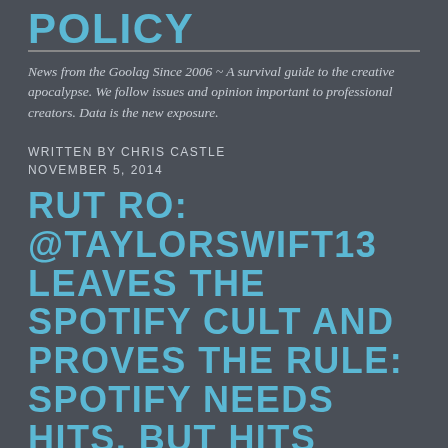POLICY
News from the Goolag Since 2006 ~ A survival guide to the creative apocalypse. We follow issues and opinion important to professional creators. Data is the new exposure.
WRITTEN BY CHRIS CASTLE
NOVEMBER 5, 2014
RUT RO: @TAYLORSWIFT13 LEAVES THE SPOTIFY CULT AND PROVES THE RULE: SPOTIFY NEEDS HITS, BUT HITS DON'T NEED SPOTIFY